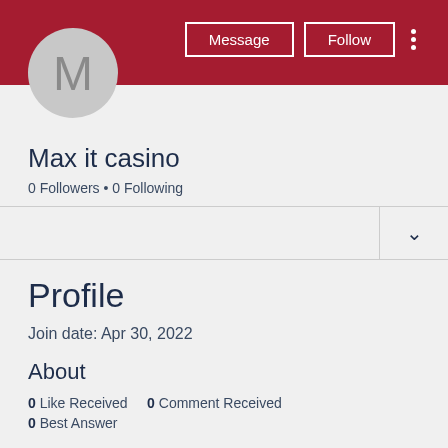[Figure (illustration): User profile header with dark red background, circular avatar with letter M, Message and Follow buttons, and vertical dots menu]
Max it casino
0 Followers • 0 Following
Profile
Join date: Apr 30, 2022
About
0 Like Received   0 Comment Received
0 Best Answer
Max it casino